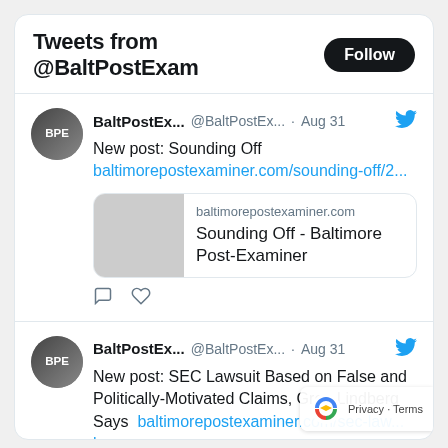Tweets from @BaltPostExam
BaltPostEx... @BaltPostEx... · Aug 31
New post: Sounding Off
baltimorepostexaminer.com/sounding-off/2...
[Figure (screenshot): Link preview card showing baltimorepostexaminer.com domain and title 'Sounding Off - Baltimore Post-Examiner']
BaltPostEx... @BaltPostEx... · Aug 31
New post: SEC Lawsuit Based on False and Politically-Motivated Claims, Greg Lindberg Says  baltimorepostexaminer.com/sec-law... ba...